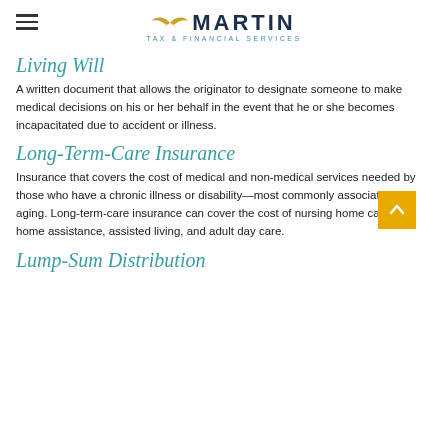MARTIN TAX & FINANCIAL SERVICES
Living Will
A written document that allows the originator to designate someone to make medical decisions on his or her behalf in the event that he or she becomes incapacitated due to accident or illness.
Long-Term-Care Insurance
Insurance that covers the cost of medical and non-medical services needed by those who have a chronic illness or disability—most commonly associated with aging. Long-term-care insurance can cover the cost of nursing home care, in-home assistance, assisted living, and adult day care.
Lump-Sum Distribution